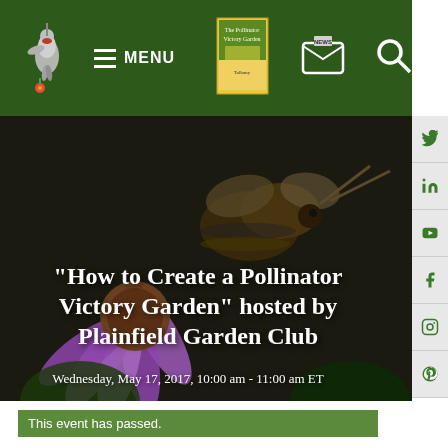MENU — navigation bar with hummingbird logo, book, newsletter, search icons
[Figure (photo): Close-up photo of a bee on a purple coneflower (Echinacea), dark background, with overlaid text title and date]
“How to Create a Pollinator Victory Garden” hosted by Plainfield Garden Club
Wednesday, May 17, 2017, 10:00 am - 11:00 am ET
This event has passed.